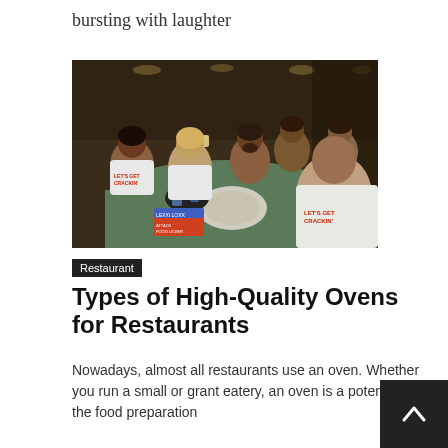bursting with laughter
[Figure (photo): Group of people at a restaurant table wearing 'Let's Get Crackin'' t-shirts, raising cups in a toast, smiling and laughing.]
Restaurant
Types of High-Quality Ovens for Restaurants
Nowadays, almost all restaurants use an oven. Whether you run a small or grant eatery, an oven is a potent tool in the food preparation